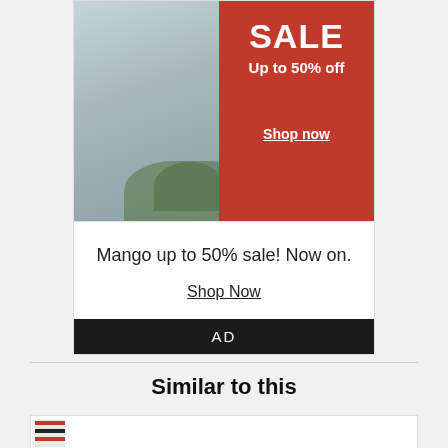[Figure (screenshot): Mango sale advertisement banner showing a person in a light grey outfit on the left and red background with SALE text on the right. Text reads: SALE, Up to 50% off, Shop now]
Mango up to 50% sale! Now on.
Shop Now
AD
Similar to this
[Figure (photo): Product thumbnail showing striped item with red and black colors]